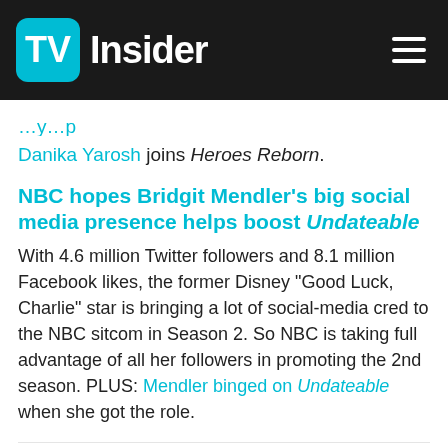[Figure (logo): TV Insider logo on dark header bar with hamburger menu icon]
Danika Yarosh joins Heroes Reborn.
NBC hopes Bridgit Mendler's big social media presence helps boost Undateable
With 4.6 million Twitter followers and 8.1 million Facebook likes, the former Disney “Good Luck, Charlie” star is bringing a lot of social-media cred to the NBC sitcom in Season 2. So NBC is taking full advantage of all her followers in promoting the 2nd season. PLUS: Mendler binged on Undateable when she got the role.
ADVERTISEMENT